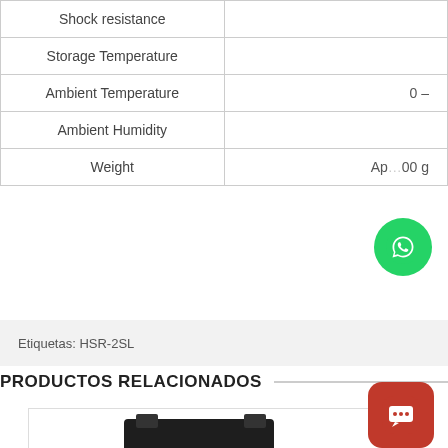| Property | Value |
| --- | --- |
| Shock resistance |  |
| Storage Temperature |  |
| Ambient Temperature | 0 – |
| Ambient Humidity |  |
| Weight | Ap...00 g |
Etiquetas: HSR-2SL
PRODUCTOS RELACIONADOS
[Figure (photo): Photo of HSR-2D202Z solid state relay product with black housing and transparent front panel showing terminals, label reads HSR-2D202Z]